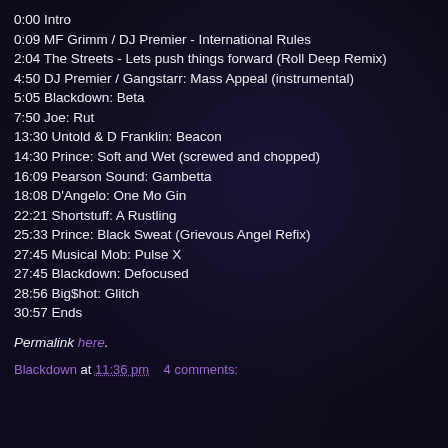0:00 Intro
0:09 MF Grimm / DJ Premier - International Rules
2:04 The Streets - Lets push things forward (Roll Deep Remix)
4:50 DJ Premier / Gangstarr: Mass Appeal (instrumental)
5:05 Blackdown: Beta
7:50 Joe: Rut
13:30 Untold & D Franklin: Beacon
14:30 Prince: Soft and Wet (screwed and chopped)
16:09 Pearson Sound: Gambetta
18:08 D'Angelo: One Mo Gin
22:21 Shortstuff: A Rustling
25:33 Prince: Black Sweat (Grievous Angel Refix)
27:45 Musical Mob: Pulse X
27:45 Blackdown: Defocused
28:56 Big$hot: Glitch
30:57 Ends
Permalink here.
Blackdown at 11:36 pm    4 comments: